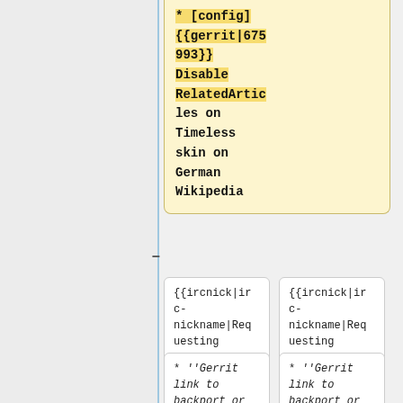* [config] {{gerrit|675993}} Disable RelatedArticles on Timeless skin on German Wikipedia
{{ircnick|irc-nickname|Requesting Developer}}
{{ircnick|irc-nickname|Requesting Developer}}
* ''Gerrit link to backport or config change''
* ''Gerrit link to backport or config change''